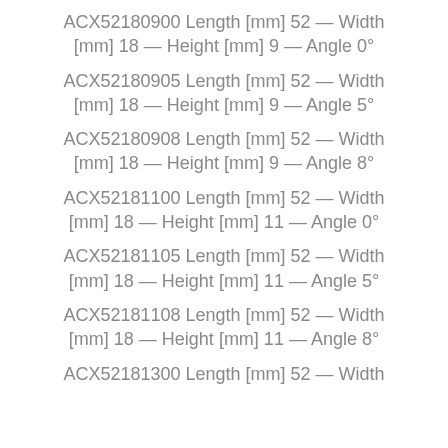ACX52180900 Length [mm] 52 — Width [mm] 18 — Height [mm] 9 — Angle 0°
ACX52180905 Length [mm] 52 — Width [mm] 18 — Height [mm] 9 — Angle 5°
ACX52180908 Length [mm] 52 — Width [mm] 18 — Height [mm] 9 — Angle 8°
ACX52181100 Length [mm] 52 — Width [mm] 18 — Height [mm] 11 — Angle 0°
ACX52181105 Length [mm] 52 — Width [mm] 18 — Height [mm] 11 — Angle 5°
ACX52181108 Length [mm] 52 — Width [mm] 18 — Height [mm] 11 — Angle 8°
ACX52181300 Length [mm] 52 — Width [mm] 18 — Height [mm] ...